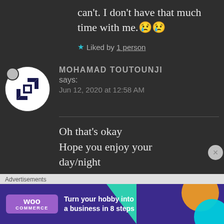can't. I don't have that much time with me. 😢😢
★ Liked by 1 person
MOHAMAD TOUTOUNJI says: Jun 12, 2020 at 12:58 AM
Oh that's okay
Hope you enjoy your day/night
Advertisements
[Figure (other): WooCommerce advertisement banner: Turn your hobby into a business in 8 steps]